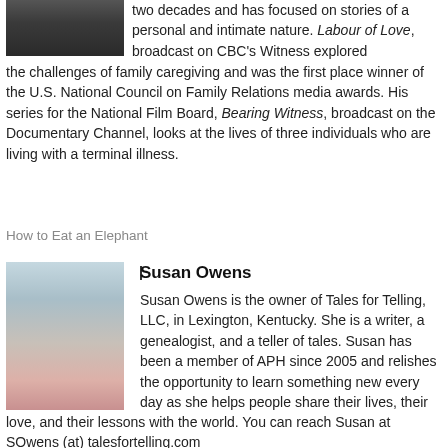[Figure (photo): Partial photo of a person, top portion visible, dark background]
two decades and has focused on stories of a personal and intimate nature. Labour of Love, broadcast on CBC's Witness explored the challenges of family caregiving and was the first place winner of the U.S. National Council on Family Relations media awards. His series for the National Film Board, Bearing Witness, broadcast on the Documentary Channel, looks at the lives of three individuals who are living with a terminal illness.
How to Eat an Elephant
[Figure (photo): Photo of Susan Owens, a woman with short gray hair wearing glasses and a pink top, smiling]
Susan Owens
Susan Owens is the owner of Tales for Telling, LLC, in Lexington, Kentucky. She is a writer, a genealogist, and a teller of tales. Susan has been a member of APH since 2005 and relishes the opportunity to learn something new every day as she helps people share their lives, their love, and their lessons with the world. You can reach Susan at SOwens (at) talesfortelling.com
Things That Matter: The Ugly Dishes
Visit the APH Store